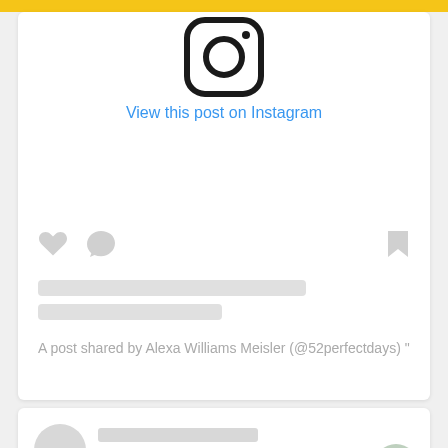[Figure (screenshot): Instagram embed card showing Instagram logo icon at top, blue link text 'View this post on Instagram', placeholder action icons (heart, comment, bookmark), placeholder text lines, and caption attribution text.]
View this post on Instagram
A post shared by Alexa Williams Meisler (@52perfectdays)
[Figure (screenshot): Second Instagram embed card showing a circular avatar placeholder and two placeholder name lines, indicating a loading or skeleton state.]